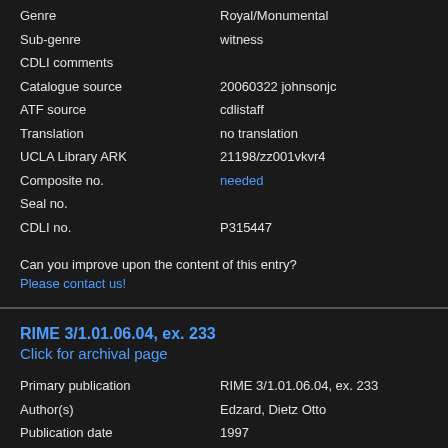| Field | Value |
| --- | --- |
| Genre | Royal/Monumental |
| Sub-genre | witness |
| CDLI comments |  |
| Catalogue source | 20060322 johnsonjc |
| ATF source | cdlistaff |
| Translation | no translation |
| UCLA Library ARK | 21198/zz001vkvr4 |
| Composite no. | needed |
| Seal no. |  |
| CDLI no. | P315447 |
Can you improve upon the content of this entry?
Please contact us!
RIME 3/1.01.06.04, ex. 233
Click for archival page
| Field | Value |
| --- | --- |
| Primary publication | RIME 3/1.01.06.04, ex. 233 |
| Author(s) | Edzard, Dietz Otto |
| Publication date | 1997 |
| Secondary publication(s) | VS 01, 011c; Messerschmidt, VS I 11; Steible, FAOS 9/1, p. 145, Urbaba 7 G [1991] |
| Collection | Vorderasiatisches Museum, Berlin, Germany |
| Museum no. | VA 03121 |
| Accession no. |  |
| Provenience | uncertain (mod. uncertain) |
| Excavation no. |  |
| Period | Lagash II (ca. 2200-2100 BC) |